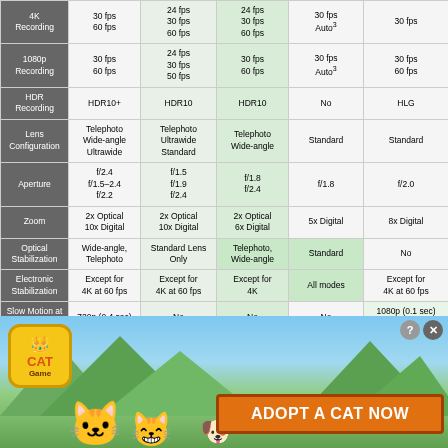| Feature | Phone A | Phone B | Phone C | Phone D | Phone E |
| --- | --- | --- | --- | --- | --- |
| 4K Recording | 30 fps
60 fps | 24 fps
30 fps
60 fps | 24 fps
30 fps
60 fps | 30 fps
Auto³ | 30 fps |
| 1080p Recording | 30 fps
60 fps | 24 fps
30 fps
50 fps | 30 fps
60 fps | 30 fps
Auto³ | 30 fps
60 fps |
| HDR Recording | HDR10+ | HDR10 | HDR10 | No | HLG |
| Lens Configuration | Telephoto
Wide-angle
Ultrawide | Telephoto
Ultrawide
Standard | Telephoto
Wide-angle | Standard | Standard |
| Aperture | f/2.4
f/1.5–2.4
f/2.2 | f/1.5
f/1.9
f/2.4 | f/1.8
f/2.4 | f/1.8 | f/2.0 |
| Zoom | 2x Optical
10x Digital | 2x Optical
10x Digital | 2x Optical
6x Digital | 5x Digital | 8x Digital |
| Optical Stabilization | Wide-angle,
Telephoto | Standard Lens Only | Telephoto,
Wide-angle | Standard | No |
| Electronic Stabilization | Except for
4K at 60 fps | Except for
4K at 60 fps | Except for
4K | All modes | Except for
4K at 60 fps |
| Slow Motion at 960 fps | 720p (0.4 sec) | No | No | No | 1080p (0.1 sec)
720p (0.2 sec) |
| Slow Motion at … | 720p (0.8 sec) | No | No | No | No |
[Figure (photo): Advertisement banner for 'Cat Game' mobile app. Shows cartoon cats, mountains background, and orange 'ADOPT A CAT NOW' button with a close (X) and help (?) button.]